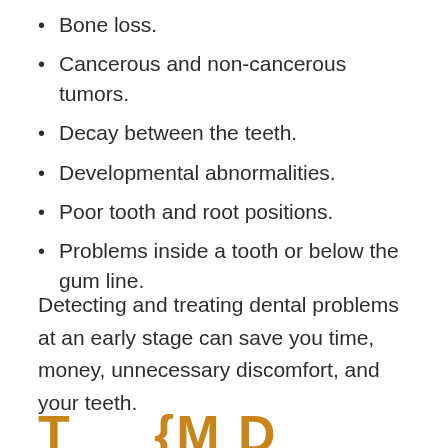Bone loss.
Cancerous and non-cancerous tumors.
Decay between the teeth.
Developmental abnormalities.
Poor tooth and root positions.
Problems inside a tooth or below the gum line.
Detecting and treating dental problems at an early stage can save you time, money, unnecessary discomfort, and your teeth.
T...{M D...